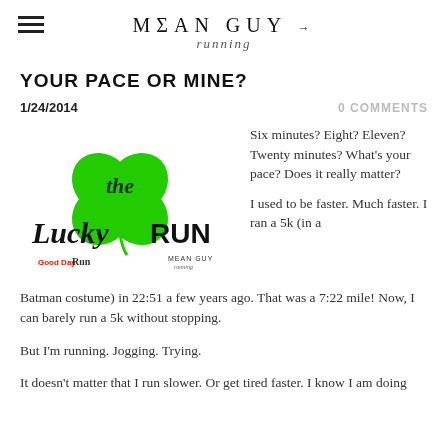MEAN GUY running
YOUR PACE OR MINE?
1/24/2014
0 COMMENTS
[Figure (logo): The Lucky Run logo with green four-leaf clover, Good Day Run and Mean Guy Running branding]
Six minutes? Eight? Eleven? Twenty minutes? What's your pace? Does it really matter?
I used to be faster. Much faster. I ran a 5k (in a Batman costume) in 22:51 a few years ago. That was a 7:22 mile! Now, I can barely run a 5k without stopping.
But I'm running. Jogging. Trying.
It doesn't matter that I run slower. Or get tired faster. I know I am doing